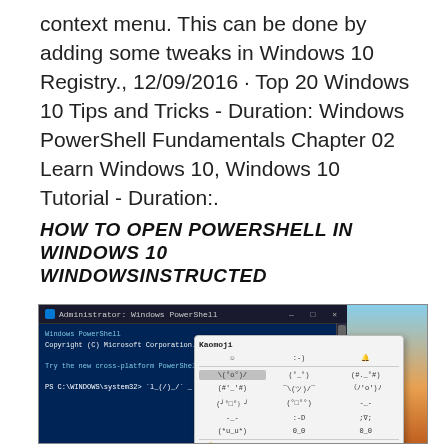context menu. This can be done by adding some tweaks in Windows 10 Registry., 12/09/2016 · Top 20 Windows 10 Tips and Tricks - Duration: Windows PowerShell Fundamentals Chapter 02 Learn Windows 10, Windows 10 Tutorial - Duration:.
HOW TO OPEN POWERSHELL IN WINDOWS 10 WINDOWSINSTRUCTED
[Figure (screenshot): Screenshot of Windows PowerShell (Administrator) window open on a Windows 10 desktop with blue sky background. An emoji picker dialog box is overlaid on the PowerShell terminal window showing various emoji/emoticons.]